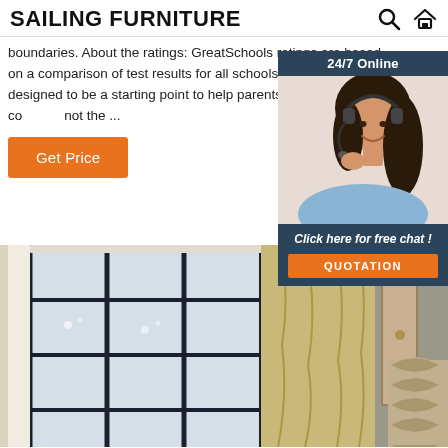SAILING FURNITURE
boundaries. About the ratings: GreatSchools ratings are based on a comparison of test results for all schools in the state.It is designed to be a starting point to help parents make baseline co... not the ...
[Figure (infographic): Orange 'Get Price' button]
[Figure (photo): 24/7 Online chat widget with woman wearing headset, dark blue background, 'Click here for free chat!' text, and orange QUOTATION button]
[Figure (photo): Room interior showing large grid window with blue-gray sky, curtain panel, and partial view of room with furniture on the right]